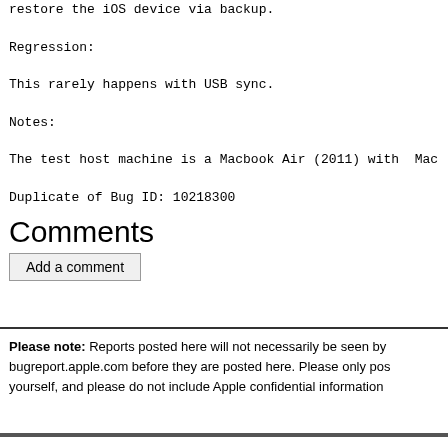restore the iOS device via backup.
Regression:
This rarely happens with USB sync.
Notes:
The test host machine is a Macbook Air (2011) with  Mac OS X
Duplicate of Bug ID: 10218300
Comments
Add a comment
Please note: Reports posted here will not necessarily be seen by bugreport.apple.com before they are posted here. Please only pos yourself, and please do not include Apple confidential information
Running on Google App Engine (HRD, Python 2.7).    Source co Questions.    On Twitter.